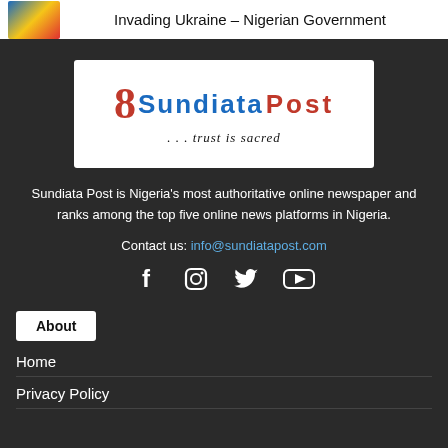Invading Ukraine – Nigerian Government
[Figure (logo): Sundiata Post logo with '8SundiataPost' text and tagline '...trust is sacred']
Sundiata Post is Nigeria's most authoritative online newspaper and ranks among the top five online news platforms in Nigeria.
Contact us: info@sundiatapost.com
[Figure (other): Social media icons: Facebook, Instagram, Twitter, YouTube]
About
Home
Privacy Policy